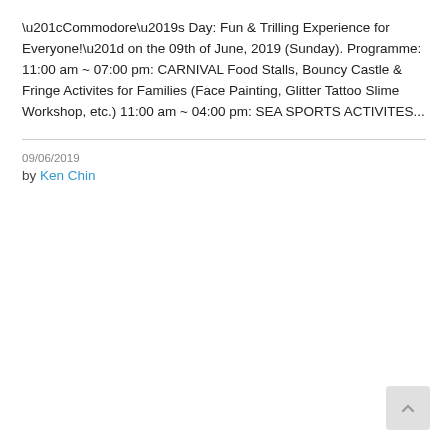“Commodore’s Day: Fun & Trilling Experience for Everyone!” on the 09th of June, 2019 (Sunday). Programme: 11:00 am ~ 07:00 pm: CARNIVAL Food Stalls, Bouncy Castle & Fringe Activites for Families (Face Painting, Glitter Tattoo Slime Workshop, etc.) 11:00 am ~ 04:00 pm: SEA SPORTS ACTIVITES...
09/06/2019
by Ken Chin